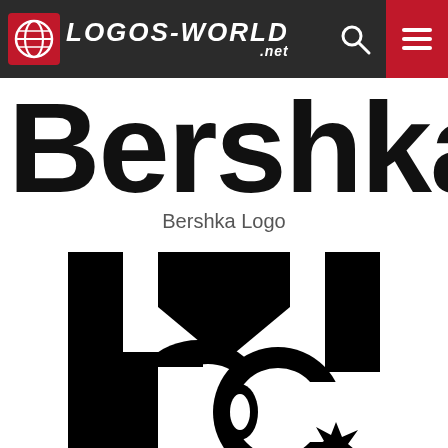[Figure (logo): Logos-World.net website navigation bar with globe logo, LOGOS-WORLD .net text, search icon, and hamburger menu on dark background]
[Figure (logo): Bershka brand logo showing large bold black text 'Bershka' cropped at top]
Bershka Logo
[Figure (logo): DC Shoes brand logo - black DC star logo mark on white background, partially visible]